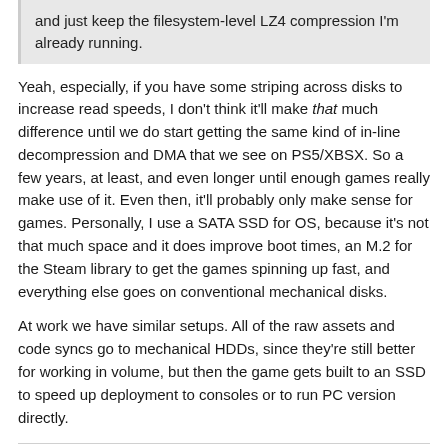and just keep the filesystem-level LZ4 compression I'm already running.
Yeah, especially, if you have some striping across disks to increase read speeds, I don't think it'll make that much difference until we do start getting the same kind of in-line decompression and DMA that we see on PS5/XBSX. So a few years, at least, and even longer until enough games really make use of it. Even then, it'll probably only make sense for games. Personally, I use a SATA SSD for OS, because it's not that much space and it does improve boot times, an M.2 for the Steam library to get the games spinning up fast, and everything else goes on conventional mechanical disks.
At work we have similar setups. All of the raw assets and code syncs go to mechanical HDDs, since they're still better for working in volume, but then the game gets built to an SSD to speed up deployment to consoles or to run PC version directly.